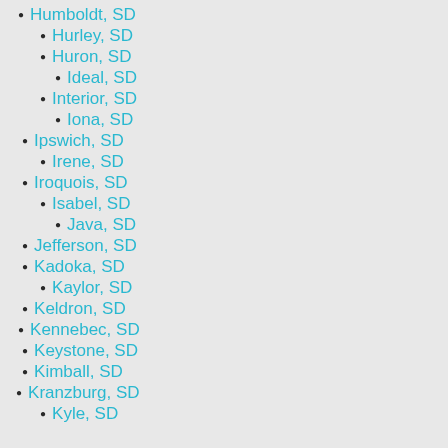Humboldt, SD
Hurley, SD
Huron, SD
Ideal, SD
Interior, SD
Iona, SD
Ipswich, SD
Irene, SD
Iroquois, SD
Isabel, SD
Java, SD
Jefferson, SD
Kadoka, SD
Kaylor, SD
Keldron, SD
Kennebec, SD
Keystone, SD
Kimball, SD
Kranzburg, SD
Kyle, SD